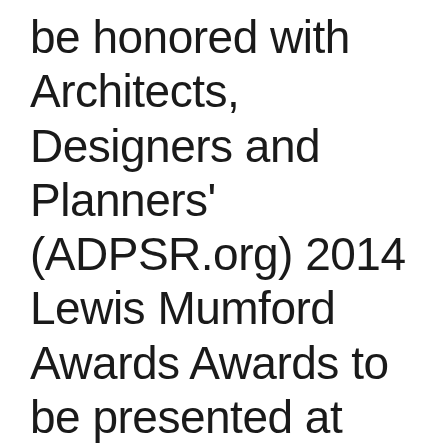be honored with Architects, Designers and Planners' (ADPSR.org) 2014 Lewis Mumford Awards Awards to be presented at Boston Greenfest on Aug 16, 2014